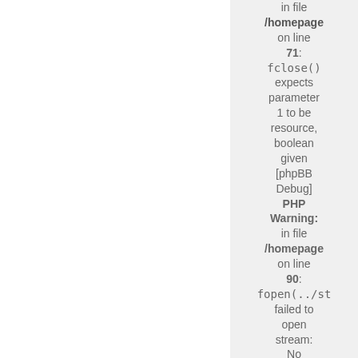in file /homepage on line 71: fclose() expects parameter 1 to be resource, boolean given [phpBB Debug] PHP Warning: in file /homepage on line 90: fopen(../sta failed to open stream: No such file or directory [phpBB Debug] PHP Warning: